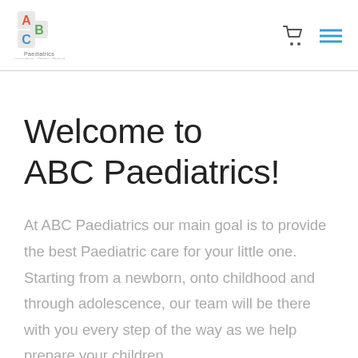[Figure (logo): ABC Paediatrics logo with colorful block letters A, B, C stacked and text 'Paediatrics' below]
Welcome to ABC Paediatrics!
At ABC Paediatrics our main goal is to provide the best Paediatric care for your little one. Starting from a newborn, onto childhood and through adolescence, our team will be there with you every step of the way as we help prepare your children